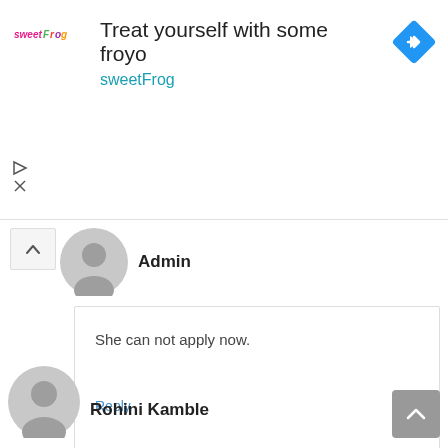[Figure (screenshot): Advertisement banner for sweetFrog frozen yogurt with logo, text 'Treat yourself with some froyo', 'sweetFrog', a blue diamond navigation icon, and ad control icons (play and close).]
Admin
She can not apply now.
Reply
Rohini Kamble